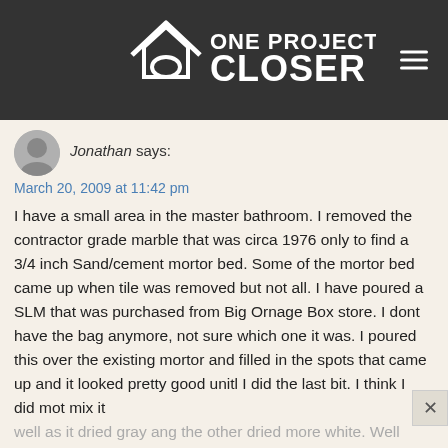[Figure (logo): One Project Closer website logo with house icon on dark grey header bar with hamburger menu icon]
Jonathan says:
March 20, 2009 at 11:42 pm
I have a small area in the master bathroom. I removed the contractor grade marble that was circa 1976 only to find a 3/4 inch Sand/cement mortor bed. Some of the mortor bed came up when tile was removed but not all. I have poured a SLM that was purchased from Big Ornage Box store. I dont have the bag anymore, not sure which one it was. I poured this over the existing mortor and filled in the spots that came up and it looked pretty good unitl I did the last bit. I think I did mot mix it well as it dried gray ang the other dried more white. Well after a day or two the grey started cracking. I have